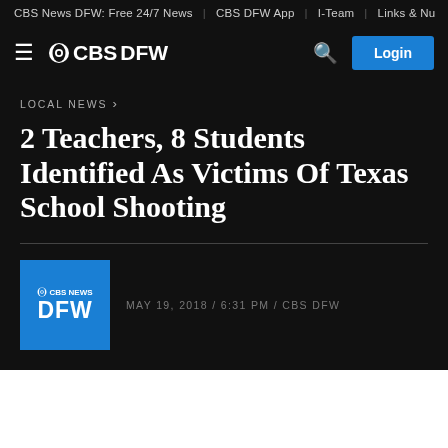CBS News DFW: Free 24/7 News | CBS DFW App | I-Team | Links & Nu
[Figure (logo): CBS DFW logo with hamburger menu icon on the left, search icon and Login button on the right, white text on dark background]
LOCAL NEWS ›
2 Teachers, 8 Students Identified As Victims Of Texas School Shooting
MAY 19, 2018 / 6:31 PM / CBS DFW
[Figure (logo): CBS News DFW blue square logo]